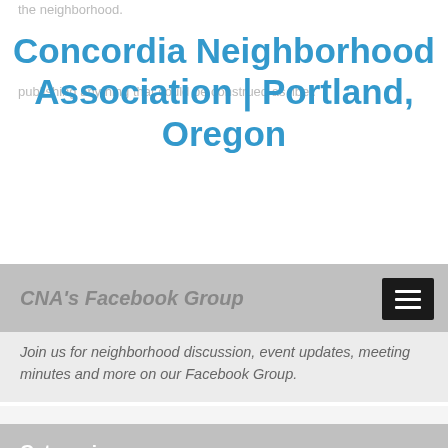the neighborhood.
Concordia Neighborhood Association | Portland, Oregon
publishing anything that could be construed as libel.
CNA's Facebook Group
Join us for neighborhood discussion, event updates, meeting minutes and more on our Facebook Group.
Categories
Archive
Arts & Culture
CNA